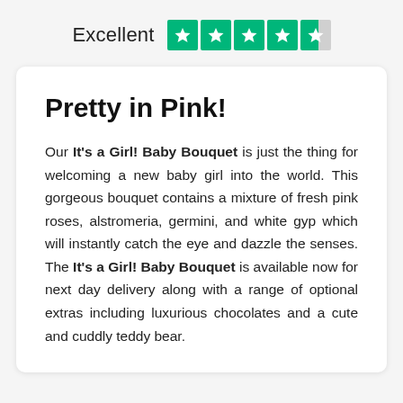Excellent ★★★★½
Pretty in Pink!
Our It's a Girl! Baby Bouquet is just the thing for welcoming a new baby girl into the world. This gorgeous bouquet contains a mixture of fresh pink roses, alstromeria, germini, and white gyp which will instantly catch the eye and dazzle the senses. The It's a Girl! Baby Bouquet is available now for next day delivery along with a range of optional extras including luxurious chocolates and a cute and cuddly teddy bear.